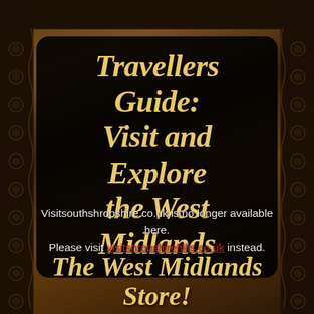[Figure (photo): Background photo of food/dining items on a wooden table with decorative dark border featuring leaf/floral motifs on left and right sides]
Travellers Guide: Visit and Explore the West Midlands
Visitsouthshropshire.co.uk is no longer available here. Please visit visitshropshirehills.co.uk instead.
The West Midlands Store!